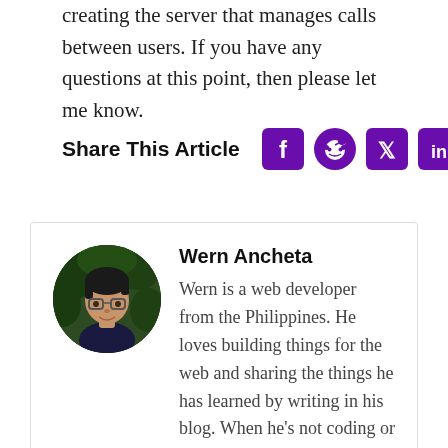creating the server that manages calls between users. If you have any questions at this point, then please let me know.
Share This Article
[Figure (infographic): Social share icons: Facebook, Reddit, Twitter, LinkedIn, Email — all in purple]
[Figure (photo): Circular author photo of Wern Ancheta, a man with glasses in front of green foliage]
Wern Ancheta
Wern is a web developer from the Philippines. He loves building things for the web and sharing the things he has learned by writing in his blog. When he's not coding or